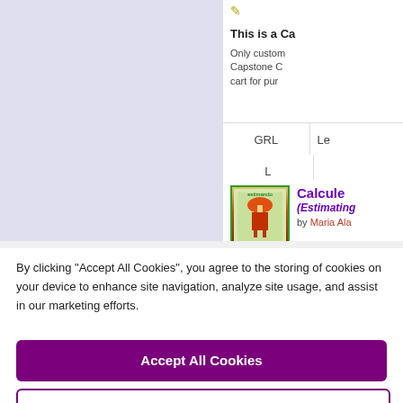[Figure (screenshot): Left panel: light purple/lavender book cover placeholder image area]
This is a Ca...
Only custom... Capstone C... cart for pur...
| GRL | Le... |
| --- | --- |
| L |  |
[Figure (illustration): Book thumbnail with green border showing a figure with a mushroom/umbrella hat in red cape]
Calcule (Estimating... by Maria Ala...
By clicking “Accept All Cookies”, you agree to the storing of cookies on your device to enhance site navigation, analyze site usage, and assist in our marketing efforts.
Accept All Cookies
Cookies Settings